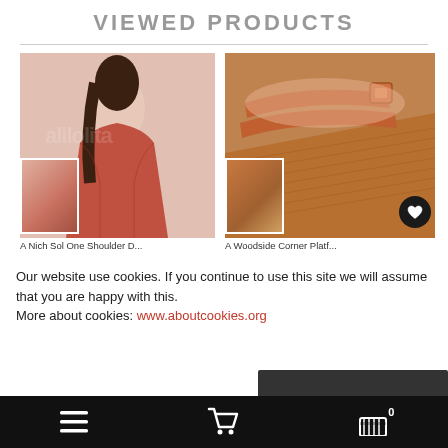VIEWED PRODUCTS
[Figure (photo): Woman in red one-shoulder dress posing against white background, with a smaller thumbnail image of the same dress in the bottom left corner]
[Figure (photo): Close-up of brown cork wedge sandals with straps and buckle, with a smaller thumbnail in the bottom left corner and a heart/wishlist button in the bottom right]
A Nich Sol One Shoulder D...
A Woodside Corner Platf...
Our website use cookies. If you continue to use this site we will assume that you are happy with this.
More about cookies: www.aboutcookies.org